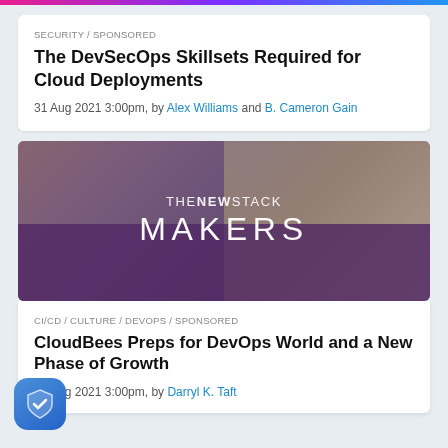SECURITY / SPONSORED
The DevSecOps Skillsets Required for Cloud Deployments
31 Aug 2021 3:00pm, by Alex Williams and B. Cameron Gain
[Figure (photo): The New Stack Makers podcast thumbnail showing two hosts with microphones, with purple overlay and THENEWSTACK MAKERS branding]
CI/CD / CULTURE / DEVOPS / SPONSORED
CloudBees Preps for DevOps World and a New Phase of Growth
17 Aug 2021 3:00pm, by Darryl K. Taft